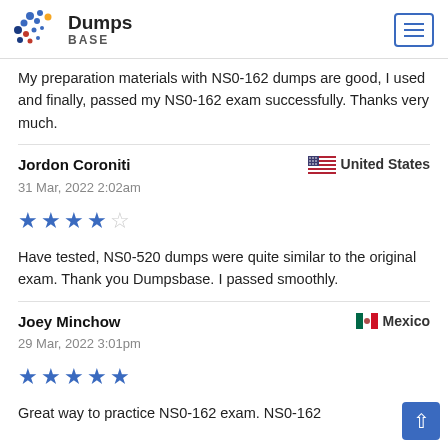Dumps BASE
My preparation materials with NS0-162 dumps are good, I used and finally, passed my NS0-162 exam successfully. Thanks very much.
Jordon Coroniti — United States
31 Mar, 2022 2:02am
★★★★☆ (4 stars)
Have tested, NS0-520 dumps were quite similar to the original exam. Thank you Dumpsbase. I passed smoothly.
Joey Minchow — Mexico
29 Mar, 2022 3:01pm
★★★★★ (5 stars)
Great way to practice NS0-162 exam. NS0-162 dumps questions are really good, which helped...